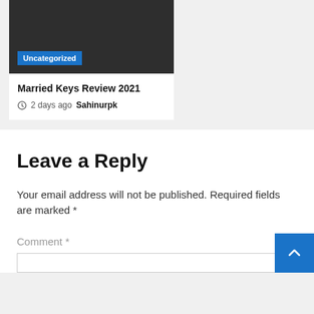[Figure (photo): Dark gray card image area with blue 'Uncategorized' badge label at the bottom left]
Married Keys Review 2021
2 days ago  Sahinurpk
Leave a Reply
Your email address will not be published. Required fields are marked *
Comment *